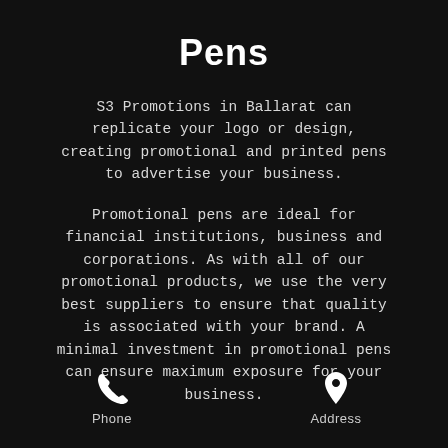Pens
S3 Promotions in Ballarat can replicate your logo or design, creating promotional and printed pens to advertise your business.
Promotional pens are ideal for financial institutions, business and corporations. As with all of our promotional products, we use the very best suppliers to ensure that quality is associated with your brand. A minimal investment in promotional pens can ensure maximum exposure for your business.
Phone   Address